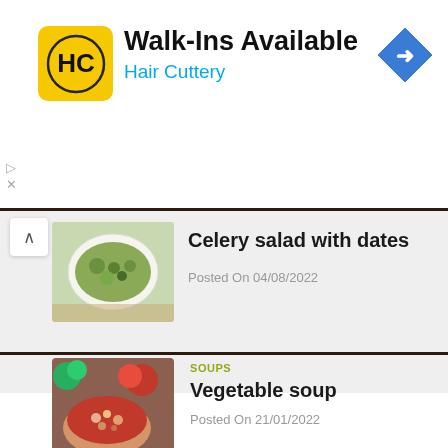[Figure (other): Hair Cuttery advertisement banner with HC logo, text 'Walk-Ins Available', 'Hair Cuttery', and blue navigation arrow icon]
[Figure (photo): Celery salad with dates in a white bowl on a wooden board, top-down view]
Celery salad with dates
Posted On 04/08/2022
[Figure (photo): Vegetable soup in a white bowl on a wooden board, with tomatoes and green vegetables visible]
SOUPS
Vegetable soup
Posted On 21/01/2022
35 comment